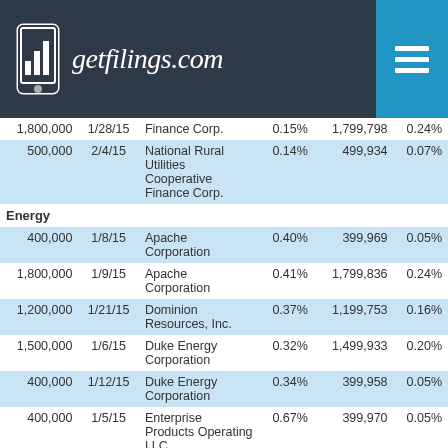getfilings.com
| Par Amount | Date | Issuer | Coupon | Value | % of Portfolio |
| --- | --- | --- | --- | --- | --- |
| 1,800,000 | 1/28/15 | Finance Corp. | 0.15% | 1,799,798 | 0.24% |
| 500,000 | 2/4/15 | National Rural Utilities Cooperative Finance Corp. | 0.14% | 499,934 | 0.07% |
| Energy |  |  |  |  |  |
| 400,000 | 1/8/15 | Apache Corporation | 0.40% | 399,969 | 0.05% |
| 1,800,000 | 1/9/15 | Apache Corporation | 0.41% | 1,799,836 | 0.24% |
| 1,200,000 | 1/21/15 | Dominion Resources, Inc. | 0.37% | 1,199,753 | 0.16% |
| 1,500,000 | 1/6/15 | Duke Energy Corporation | 0.32% | 1,499,933 | 0.20% |
| 400,000 | 1/12/15 | Duke Energy Corporation | 0.34% | 399,958 | 0.05% |
| 400,000 | 1/5/15 | Enterprise Products Operating LLC | 0.67% | 399,970 | 0.05% |
|  |  | Enterprise Products |  |  |  |